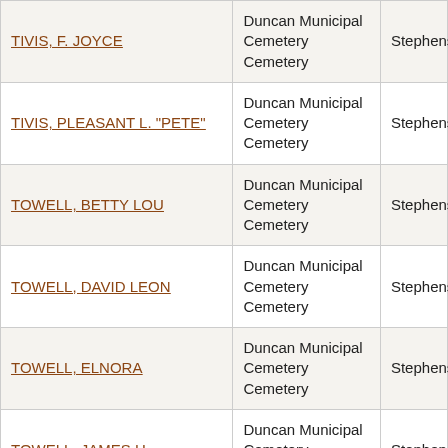| Name | Cemetery | County |
| --- | --- | --- |
| TIVIS, F. JOYCE | Duncan Municipal Cemetery Cemetery | Stephens |
| TIVIS, PLEASANT L. "PETE" | Duncan Municipal Cemetery Cemetery | Stephens |
| TOWELL, BETTY LOU | Duncan Municipal Cemetery Cemetery | Stephens |
| TOWELL, DAVID LEON | Duncan Municipal Cemetery Cemetery | Stephens |
| TOWELL, ELNORA | Duncan Municipal Cemetery Cemetery | Stephens |
| TOWELL, JAMES H. | Duncan Municipal Cemetery Cemetery | Stephens |
| TOWELL, LORETTA F. | Duncan Municipal Cemetery Cemetery | Stephens |
| TOWELL, RAYMOND W. | Duncan Municipal Cemetery Cemetery | Stephens |
| TREECE, OTIS | Duncan Municipal Cemetery Cemetery | Stephens |